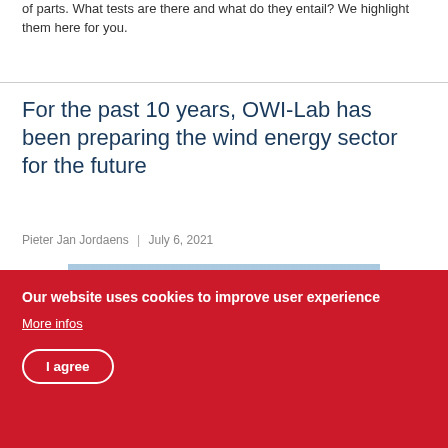of parts. What tests are there and what do they entail? We highlight them here for you.
For the past 10 years, OWI-Lab has been preparing the wind energy sector for the future
Pieter Jan Jordaens | July 6, 2021
[Figure (photo): Wind turbines in a field against a blue sky with clouds, and a wind turbine component/equipment in the foreground left]
Our website uses cookies to improve user experience
More infos
I agree